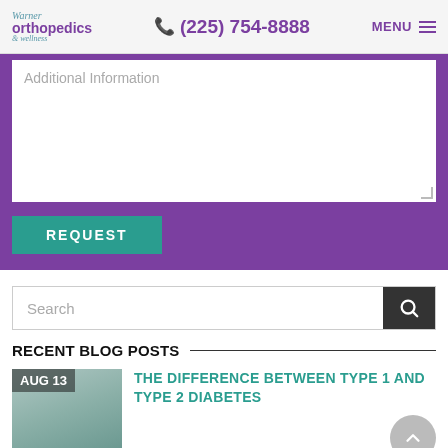Warner Orthopedics & Wellness | (225) 754-8888 | MENU
[Figure (screenshot): Additional Information textarea input field inside a purple form section with a teal REQUEST button below]
[Figure (screenshot): Search bar with dark search button on the right]
RECENT BLOG POSTS
[Figure (photo): AUG 13 thumbnail image of hands with diabetes testing device]
THE DIFFERENCE BETWEEN TYPE 1 AND TYPE 2 DIABETES